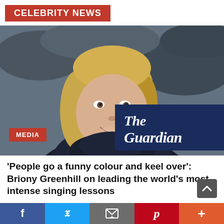CELEBRITY NEWS
[Figure (photo): Portrait photo of Briony Greenhill, a blonde woman smiling, wearing a dark turtleneck, with rocky background. MEDIA tag overlay bottom left. The Guardian logo overlay bottom right.]
'People go a funny colour and keel over': Briony Greenhill on leading the world's most intense singing lessons
Feb 17, 2022